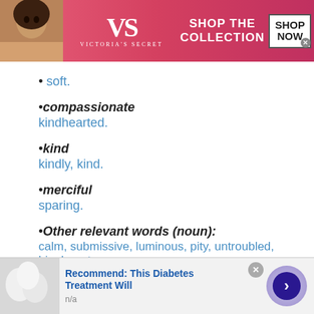[Figure (screenshot): Victoria's Secret banner advertisement with model photo, VS logo, 'SHOP THE COLLECTION' text, and SHOP NOW button]
• soft.
•compassionate
kindhearted.
•kind
kindly, kind.
•merciful
sparing.
•Other relevant words (noun):
calm, submissive, luminous, pity, untroubled, big, bounty
[Figure (screenshot): Bottom advertisement: 'Recommend: This Diabetes Treatment Will' with image of white eggs/pills and n/a subtext, with arrow navigation button]